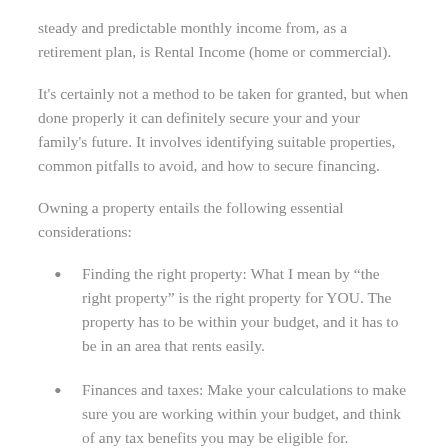steady and predictable monthly income from, as a retirement plan, is Rental Income (home or commercial).
It's certainly not a method to be taken for granted, but when done properly it can definitely secure your and your family's future. It involves identifying suitable properties, common pitfalls to avoid, and how to secure financing.
Owning a property entails the following essential considerations:
Finding the right property: What I mean by “the right property” is the right property for YOU. The property has to be within your budget, and it has to be in an area that rents easily.
Finances and taxes: Make your calculations to make sure you are working within your budget, and think of any tax benefits you may be eligible for.